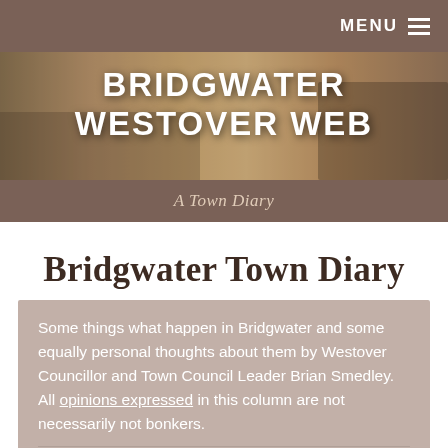MENU
[Figure (illustration): Bridgwater Westover Web website banner with sepia-toned town photograph and bold white text overlay reading BRIDGWATER WESTOVER WEB]
A Town Diary
Bridgwater Town Diary
Some things what happen in Bridgwater and some equally personal thoughts about them by Westover Councillor and Town Council Leader Brian Smedley. All opinions expressed in this column are not necessarily not bonkers.
Decline  Allow cookies
4 MAY